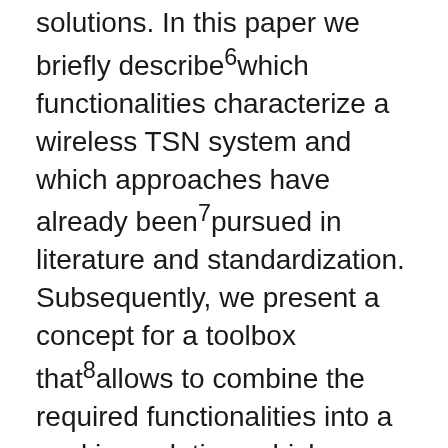solutions. In this paper we briefly describe6which functionalities characterize a wireless TSN system and which approaches have already been7pursued in literature and standardization. Subsequently, we present a concept for a toolbox that8allows to combine the required functionalities into a working solution, which can be used as guideline9for a software-base implementation. Additionally, since reliability of transmissions is one of the key10challenges, especially in wireless communication, to achieve a performance comparable to wired11systems, we provide some further design considerations to improve this part.